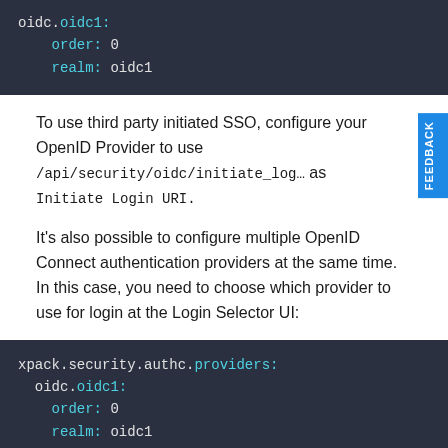[Figure (screenshot): Code block showing oidc.oidc1: with order: 0 and realm: oidc1]
To use third party initiated SSO, configure your OpenID Provider to use /api/security/oidc/initiate_log... as Initiate Login URI.
It's also possible to configure multiple OpenID Connect authentication providers at the same time. In this case, you need to choose which provider to use for login at the Login Selector UI:
[Figure (screenshot): Code block showing xpack.security.authc.providers: oidc.oidc1: order: 0 realm: oidc1]